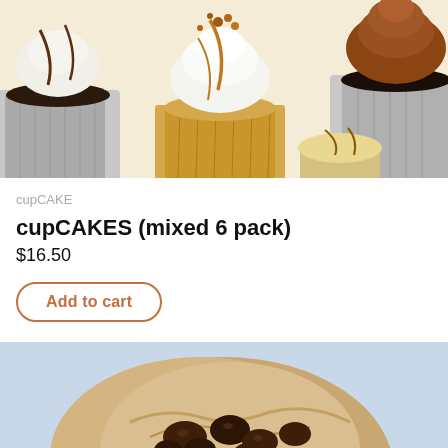[Figure (photo): Photo of assorted cupcakes on a cream/beige background: chocolate cupcake with white icing and caramel drizzle in center, dark chocolate cupcake with brown frosting on right, chocolate cupcake with white icing and chocolate drizzle on left, partial cupcakes on bottom right.]
cupCAKE
cupCAKES (mixed 6 pack)
$16.50
Add to cart
[Figure (photo): Photo of a large chocolate chip cookie on a light blue/gray background, showing chocolate chips embedded in the cookie dough, partially cropped at bottom.]